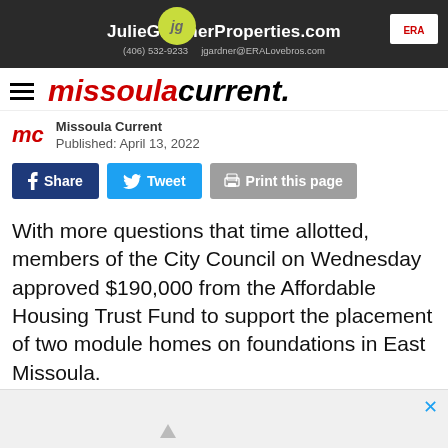[Figure (screenshot): Advertisement banner for JulieGardnerProperties.com with JG logo, phone (406) 532-9233, email jgardner@ERALovebros.com]
missoula current.
Missoula Current
Published: April 13, 2022
[Figure (infographic): Social sharing buttons: Share (Facebook, blue), Tweet (Twitter, cyan), Print this page (gray)]
With more questions that time allotted, members of the City Council on Wednesday approved $190,000 from the Affordable Housing Trust Fund to support the placement of two module homes on foundations in East Missoula.
[Figure (screenshot): Bottom advertisement area with close X button]